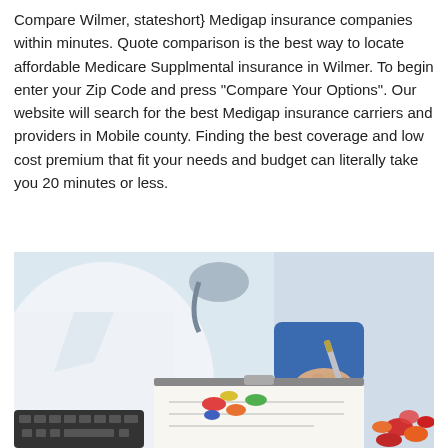Compare Wilmer, stateshort} Medigap insurance companies within minutes. Quote comparison is the best way to locate affordable Medicare Supplmental insurance in Wilmer. To begin enter your Zip Code and press "Compare Your Options". Our website will search for the best Medigap insurance carriers and providers in Mobile county. Finding the best coverage and low cost premium that fit your needs and budget can literally take you 20 minutes or less.
[Figure (photo): A doctor in a white coat writing on a clipboard with a pen, with colorful pills/capsules visible and a keyboard in the foreground, and a stethoscope partially visible.]